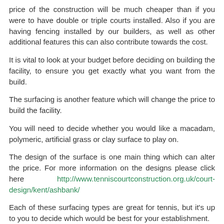price of the construction will be much cheaper than if you were to have double or triple courts installed. Also if you are having fencing installed by our builders, as well as other additional features this can also contribute towards the cost.
It is vital to look at your budget before deciding on building the facility, to ensure you get exactly what you want from the build.
The surfacing is another feature which will change the price to build the facility.
You will need to decide whether you would like a macadam, polymeric, artificial grass or clay surface to play on.
The design of the surface is one main thing which can alter the price. For more information on the designs please click here http://www.tenniscourtconstruction.org.uk/court-design/kent/ashbank/
Each of these surfacing types are great for tennis, but it's up to you to decide which would be best for your establishment.